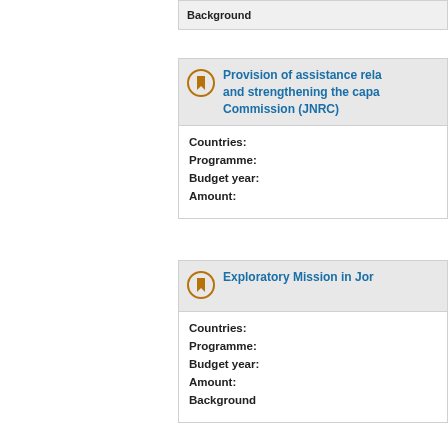Background
Provision of assistance rela... and strengthening the capa... Commission (JNRC)
Countries:
Programme:
Budget year:
Amount:
Exploratory Mission in Jor...
Countries:
Programme:
Budget year:
Amount:
Background